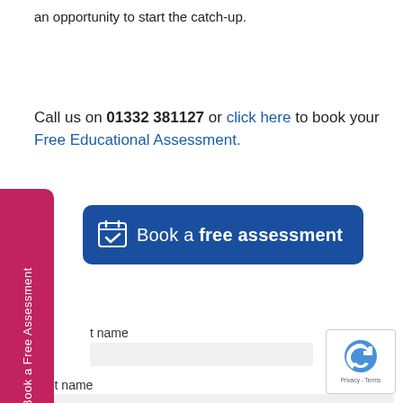an opportunity to start the catch-up.
Call us on 01332 381127 or click here to book your Free Educational Assessment.
[Figure (other): Blue rounded button with white text reading 'Book a free assessment' with a calendar checkbox icon on the left]
[Figure (other): Pink/crimson vertical sidebar tab with rotated white text reading 'Book a Free Assessment']
t name
Last name
[Figure (other): reCAPTCHA badge in bottom right corner showing google reCAPTCHA icon and Privacy - Terms text]